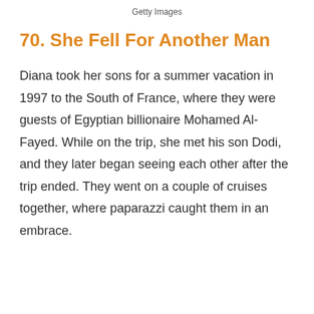Getty Images
70. She Fell For Another Man
Diana took her sons for a summer vacation in 1997 to the South of France, where they were guests of Egyptian billionaire Mohamed Al-Fayed. While on the trip, she met his son Dodi, and they later began seeing each other after the trip ended. They went on a couple of cruises together, where paparazzi caught them in an embrace.